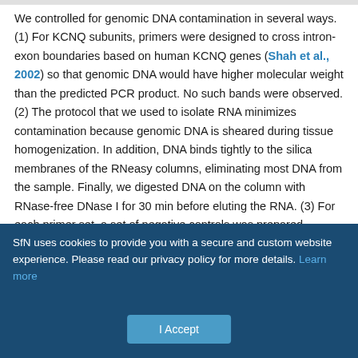We controlled for genomic DNA contamination in several ways. (1) For KCNQ subunits, primers were designed to cross intron-exon boundaries based on human KCNQ genes (Shah et al., 2002) so that genomic DNA would have higher molecular weight than the predicted PCR product. No such bands were observed. (2) The protocol that we used to isolate RNA minimizes contamination because genomic DNA is sheared during tissue homogenization. In addition, DNA binds tightly to the silica membranes of the RNeasy columns, eliminating most DNA from the sample. Finally, we digested DNA on the column with RNase-free DNase I for 30 min before eluting the RNA. (3) For each primer set, a set of negative controls was prepared, substituting water for the reverse transcriptase. In
SfN uses cookies to provide you with a secure and custom website experience. Please read our privacy policy for more details. Learn more
I Accept